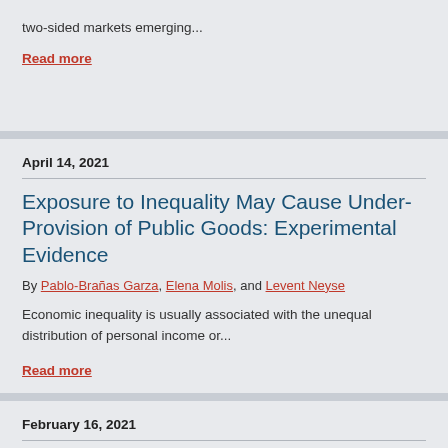two-sided markets emerging...
Read more
April 14, 2021
Exposure to Inequality May Cause Under-Provision of Public Goods: Experimental Evidence
By Pablo-Brañas Garza, Elena Molis, and Levent Neyse
Economic inequality is usually associated with the unequal distribution of personal income or...
Read more
February 16, 2021
How Minimum Wages and Consumer